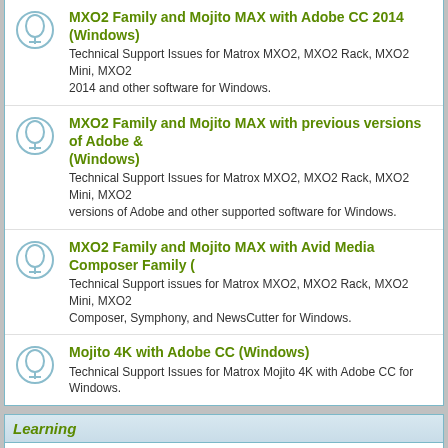MXO2 Family and Mojito MAX with Adobe CC 2014 (Windows) - Technical Support Issues for Matrox MXO2, MXO2 Rack, MXO2 Mini, MXO2 2014 and other software for Windows.
MXO2 Family and Mojito MAX with previous versions of Adobe & (Windows) - Technical Support Issues for Matrox MXO2, MXO2 Rack, MXO2 Mini, MXO2 versions of Adobe and other supported software for Windows.
MXO2 Family and Mojito MAX with Avid Media Composer Family - Technical Support issues for Matrox MXO2, MXO2 Rack, MXO2 Mini, MXO2 Composer, Symphony, and NewsCutter for Windows.
Mojito 4K with Adobe CC (Windows) - Technical Support Issues for Matrox Mojito 4K with Adobe CC for Windows.
Learning
General Discussions - General discussions related to the video industry as well as topics not covered.
Product Feature Enhancements - Submit feature enhancements that you would like to see implemented with M. Participation from Matrox will be limited on this forum.
User Testimonials - A place for users to tell us about their experience with Matrox MXO and Matr. Matrox will be limited on this forum.
Who is Online
Our users have posted a total of 40432 articles. We have 31817 registered users.